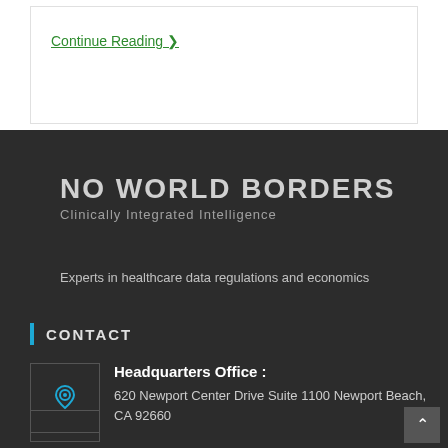Continue Reading ▶
[Figure (logo): No World Borders logo with text 'NO WORLD BORDERS' and subtitle 'Clinically Integrated Intelligence']
Experts in healthcare data regulations and economics
CONTACT
Headquarters Office : 620 Newport Center Drive Suite 1100 Newport Beach, CA 92660